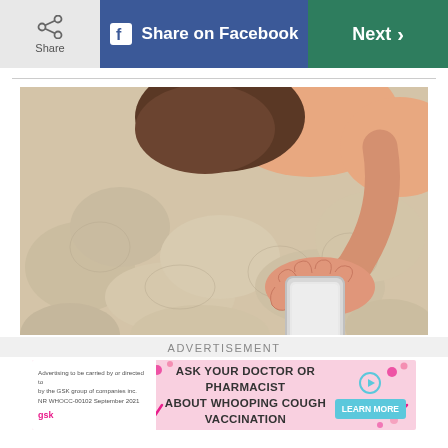Share | Share on Facebook | Next >
[Figure (photo): Person lying in bed holding a smartphone on a white quilted blanket]
ADVERTISEMENT
[Figure (infographic): Advertisement banner: Ask your doctor or pharmacist about whooping cough vaccination. Learn More button.]